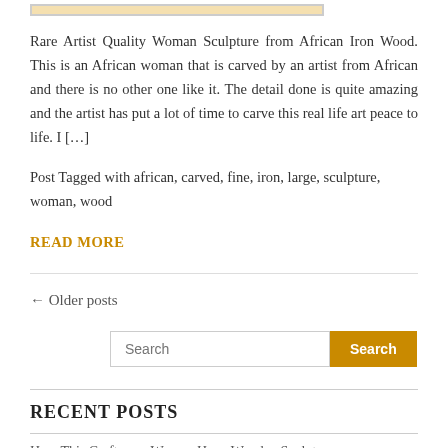[Figure (photo): Image placeholder for African Iron Wood woman sculpture]
Rare Artist Quality Woman Sculpture from African Iron Wood. This is an African woman that is carved by an artist from African and there is no other one like it. The detail done is quite amazing and the artist has put a lot of time to carve this real life art peace to life. I […]
Post Tagged with african, carved, fine, iron, large, sculpture, woman, wood
READ MORE
← Older posts
Search
RECENT POSTS
How This Craftsman Weaves Huge Wooden Sculptures